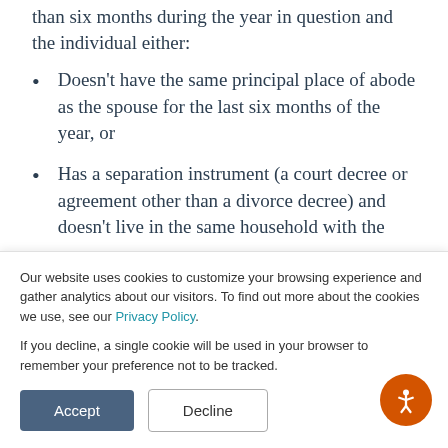than six months during the year in question and the individual either:
Doesn't have the same principal place of abode as the spouse for the last six months of the year, or
Has a separation instrument (a court decree or agreement other than a divorce decree) and doesn't live in the same household with the
Our website uses cookies to customize your browsing experience and gather analytics about our visitors. To find out more about the cookies we use, see our Privacy Policy.

If you decline, a single cookie will be used in your browser to remember your preference not to be tracked.